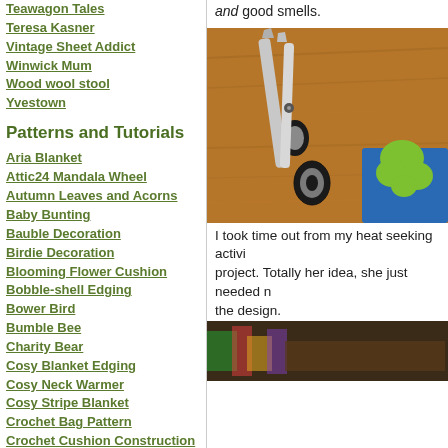Teawagon Tales
Teresa Kasner
Vintage Sheet Addict
Winwick Mum
Wood wool stool
Yvestown
Patterns and Tutorials
Aria Blanket
Attic24 Mandala Wheel
Autumn Leaves and Acorns
Baby Bunting
Bauble Decoration
Birdie Decoration
Blooming Flower Cushion
Bobble-shell Edging
Bower Bird
Bumble Bee
Charity Bear
Cosy Blanket Edging
Cosy Neck Warmer
Cosy Stripe Blanket
Crochet Bag Pattern
Crochet Cushion Construction
and good smells.
[Figure (photo): Black scissors on a wooden surface next to green and blue felt pieces]
I took time out from my heat seeking activi project. Totally her idea, she just needed n the design.
[Figure (photo): Bottom partial photo showing crafting materials]